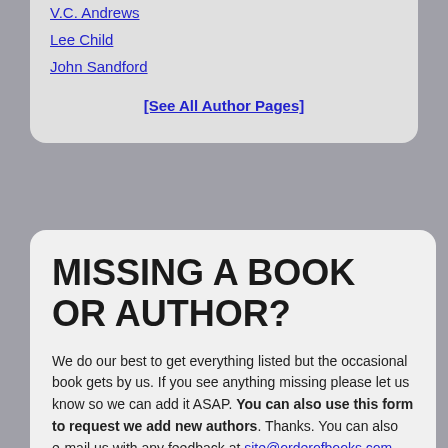V.C. Andrews
Lee Child
John Sandford
[See All Author Pages]
MISSING A BOOK OR AUTHOR?
We do our best to get everything listed but the occasional book gets by us. If you see anything missing please let us know so we can add it ASAP. You can also use this form to request we add new authors. Thanks. You can also e-mail us with any feedback at site@orderofbooks.com.
Book(s)